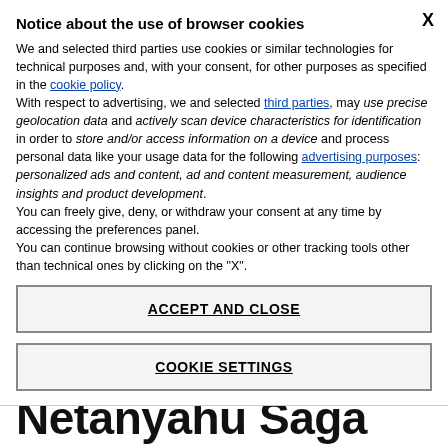Notice about the use of browser cookies
We and selected third parties use cookies or similar technologies for technical purposes and, with your consent, for other purposes as specified in the cookie policy. With respect to advertising, we and selected third parties, may use precise geolocation data and actively scan device characteristics for identification in order to store and/or access information on a device and process personal data like your usage data for the following advertising purposes: personalized ads and content, ad and content measurement, audience insights and product development. You can freely give, deny, or withdraw your consent at any time by accessing the preferences panel. You can continue browsing without cookies or other tracking tools other than technical ones by clicking on the "X".
ACCEPT AND CLOSE
COOKIE SETTINGS
Netanyahu Saga